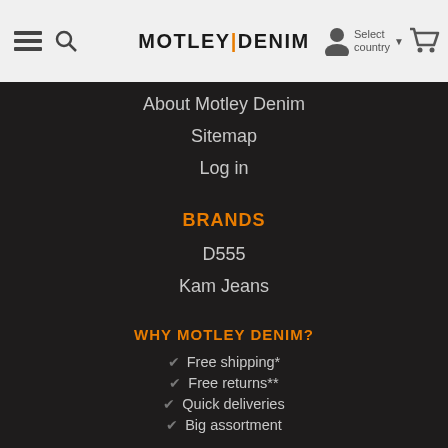MOTLEY|DENIM — Select country
About Motley Denim
Sitemap
Log in
BRANDS
D555
Kam Jeans
WHY MOTLEY DENIM?
Free shipping*
Free returns**
Quick deliveries
Big assortment
Clothes 2XL-8XL
Jeans W40-W70